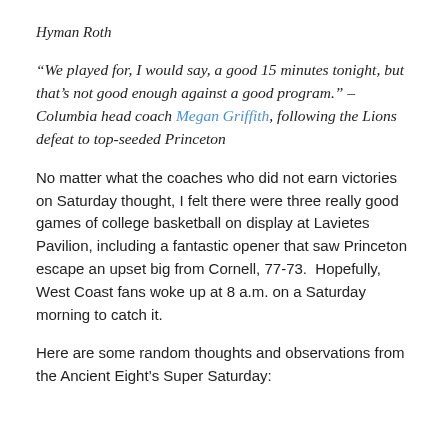Hyman Roth
“We played for, I would say, a good 15 minutes tonight, but that’s not good enough against a good program.” – Columbia head coach Megan Griffith, following the Lions defeat to top-seeded Princeton
No matter what the coaches who did not earn victories on Saturday thought, I felt there were three really good games of college basketball on display at Lavietes Pavilion, including a fantastic opener that saw Princeton escape an upset big from Cornell, 77-73.  Hopefully, West Coast fans woke up at 8 a.m. on a Saturday morning to catch it.
Here are some random thoughts and observations from the Ancient Eight’s Super Saturday: